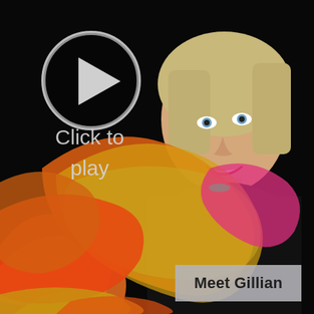[Figure (photo): Woman with blonde hair smiling, wearing a black top and holding a flowing silk scarf in orange, red, gold, and pink colors against a black background. A play button icon overlay and 'Click to play' text appear in the upper left. A caption box in the lower right reads 'Meet Gillian'.]
Meet Gillian